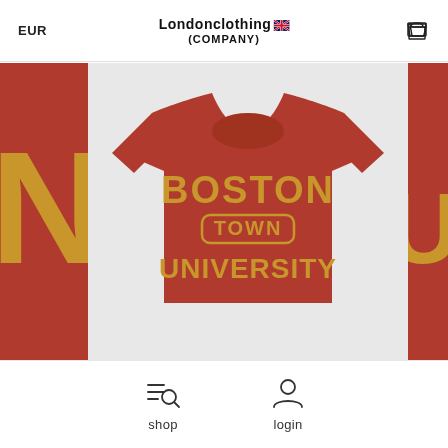EUR | Londonclothing (COMPANY)
[Figure (photo): E-commerce website screenshot showing a red Boston Town University graphic t-shirt as the main product image, with two partial views of adjacent product images on left and right sides.]
shop | login